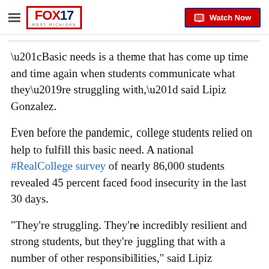FOX 17 WEST MICHIGAN | Watch Now
“Basic needs is a theme that has come up time and time again when students communicate what they’re struggling with,” said Lipiz Gonzalez.
Even before the pandemic, college students relied on help to fulfill this basic need. A national #RealCollege survey of nearly 86,000 students revealed 45 percent faced food insecurity in the last 30 days.
"They're struggling. They're incredibly resilient and strong students, but they're juggling that with a number of other responsibilities," said Lipiz Gonzales.